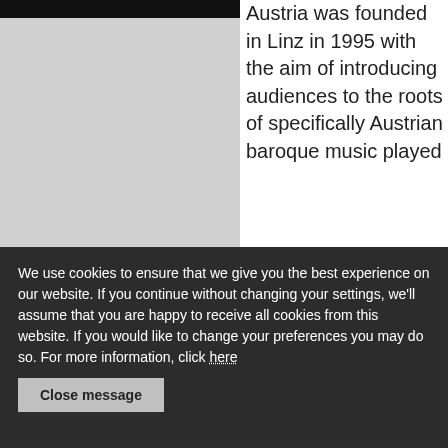[Figure (photo): Partial photo at top left, mostly dark/black at the top edge with a light gray area below, appearing to be a cropped portrait or artistic image.]
Austria was founded in Linz in 1995 with the aim of introducing audiences to the roots of specifically Austrian baroque music played
We use cookies to ensure that we give you the best experience on our website. If you continue without changing your settings, we'll assume that you are happy to receive all cookies from this website. If you would like to change your preferences you may do so. For more information, click here
Close message
instru... Ars Antiqua Austria comprises 8 musicians directed by Gunar Letzbor. The ensemble is readily